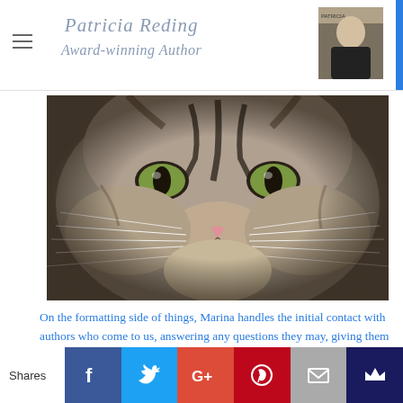Patricia Reding
Award-winning Author
[Figure (photo): Close-up photograph of a tabby cat's face with green eyes, prominent whiskers, and gray striped fur]
On the formatting side of things, Marina handles the initial contact with authors who come to us, answering any questions they may, giving them a quote, offering advice if
Shares | Facebook | Twitter | Google+ | Pinterest | Email | Crown